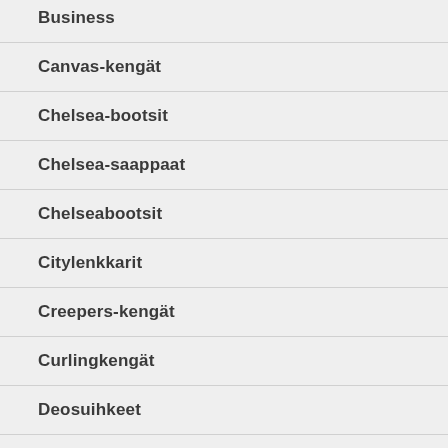Business
Canvas-kengät
Chelsea-bootsit
Chelsea-saappaat
Chelseabootsit
Citylenkkarit
Creepers-kengät
Curlingkengät
Deosuihkeet
Ensikengät